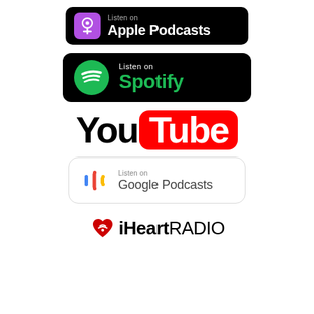[Figure (logo): Listen on Apple Podcasts badge — black rounded rectangle with purple podcast icon and white text]
[Figure (logo): Listen on Spotify badge — black rounded rectangle with green Spotify logo and green Spotify text]
[Figure (logo): YouTube logo — black 'You' text followed by red rounded rectangle with white 'Tube' text]
[Figure (logo): Listen on Google Podcasts badge — white rounded rectangle with border, Google Podcasts icon and grey text]
[Figure (logo): iHeartRadio logo — red heart/radio icon followed by bold 'iHeart' and regular 'RADIO' text]